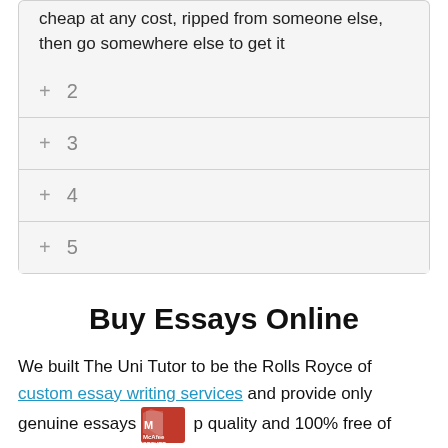cheap at any cost, ripped from someone else, then go somewhere else to get it
+ 2
+ 3
+ 4
+ 5
Buy Essays Online
We built The Uni Tutor to be the Rolls Royce of custom essay writing services and provide only genuine essays of top quality and 100% free of plagiarism. We